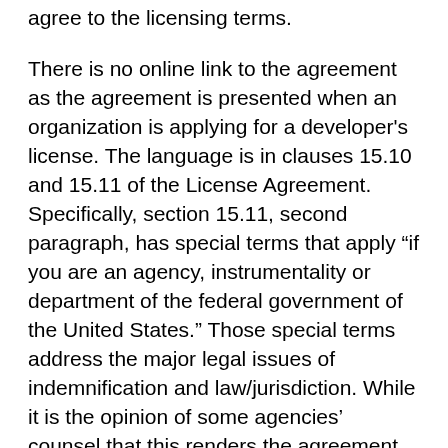agree to the licensing terms.
There is no online link to the agreement as the agreement is presented when an organization is applying for a developer's license. The language is in clauses 15.10 and 15.11 of the License Agreement. Specifically, section 15.11, second paragraph, has special terms that apply “if you are an agency, instrumentality or department of the federal government of the United States.” Those special terms address the major legal issues of indemnification and law/jurisdiction. While it is the opinion of some agencies’ counsel that this renders the agreement minimally federal-compatible, each interested agency should make its own determination.
Each agency that wishes to publish an iOS app, which displays that agency name as the publisher